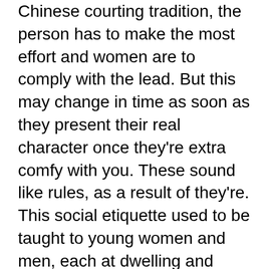Chinese courting tradition, the person has to make the most effort and women are to comply with the lead. But this may change in time as soon as they present their real character once they're extra comfy with you. These sound like rules, as a result of they're. This social etiquette used to be taught to young women and men, each at dwelling and faculty. Sadly, these days most people do not hear about them till they're sitting with a marriage or sexual assault counselor.
I have known my buddy for six years now. As we each become older our love grows more as well. He's 16 yrs. youthful, but we've got so much love for each other. It has nothing to do with anything aside from who he's as an individual. I've tried relationship other people who find themselves my age. He is the person I really love and he feels the identical way about me. The younger Asian girls are loads of fun, however beware of younger girls who're often marrying for money somewhat than love.